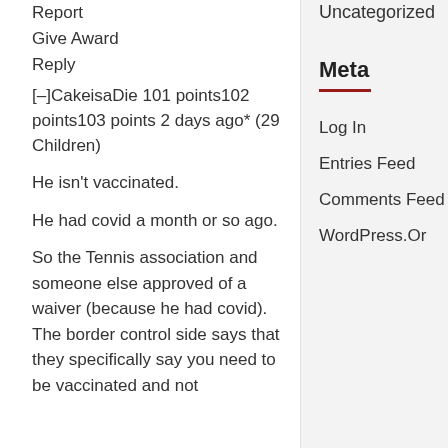Report
Give Award
Reply
[–]CakeisaDie 101 points102 points103 points 2 days ago* (29 Children)
He isn't vaccinated.
He had covid a month or so ago.
So the Tennis association and someone else approved of a waiver (because he had covid). The border control side says that they specifically say you need to be vaccinated and not
Uncategorized
Meta
Log In
Entries Feed
Comments Feed
WordPress.Org